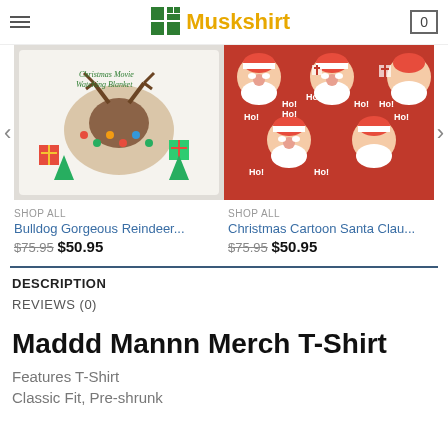Muskshirt — navigation header with hamburger menu, logo, and cart (0)
[Figure (photo): Bulldog Gorgeous Reindeer Christmas blanket product image — white blanket with dachshund in reindeer antlers and Christmas lights]
[Figure (photo): Christmas Cartoon Santa Claus blanket product image — red blanket with Santa Claus faces and 'Ho! Ho!' text]
SHOP ALL
Bulldog Gorgeous Reindeer...
$75.95 $50.95
SHOP ALL
Christmas Cartoon Santa Clau...
$75.95 $50.95
DESCRIPTION
REVIEWS (0)
Maddd Mannn Merch T-Shirt
Features T-Shirt
Classic Fit, Pre-shrunk